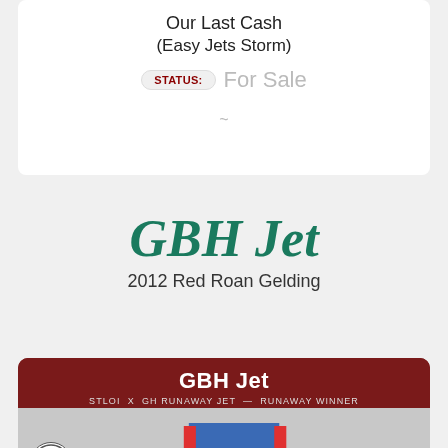Our Last Cash
(Easy Jets Storm)
STATUS: For Sale
GBH Jet
2012 Red Roan Gelding
[Figure (photo): Photo of a rider on a red roan horse in a rodeo/barrel racing arena. The promotional image has a dark red background and shows 'GBH Jet' at the top with subtitle 'STLOI x GH RUNAWAY JET — RUNAWAY WINNER'. A Ruby Buckle logo is visible at the bottom, along with a round ranch logo on the left side and an up-arrow navigation button on the right.]